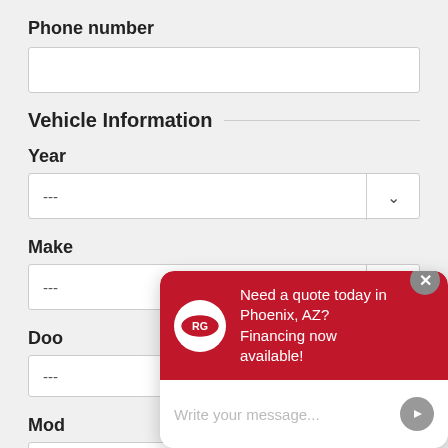Phone number
[Figure (screenshot): Phone number text input field (empty)]
Vehicle Information
Year
[Figure (screenshot): Year dropdown selector showing ---]
Make
[Figure (screenshot): Make dropdown selector showing ---]
Doo[r]
[Figure (screenshot): Door dropdown selector showing ---]
Mod[el]
[Figure (screenshot): Model text input field (empty)]
[Figure (screenshot): Chat widget overlay: RG logo, header text 'Need a quote today in Phoenix, AZ? Financing now available!', and message input area]